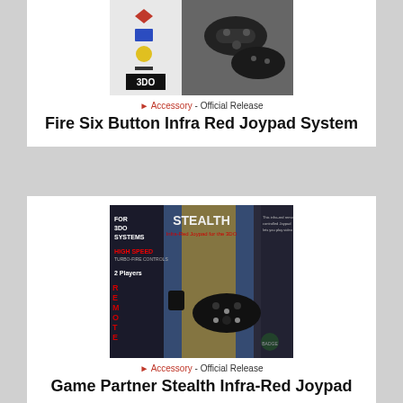[Figure (photo): Product box image for Fire Six Button Infra Red Joypad System for 3DO, showing game controllers]
🏷 Accessory - Official Release
Fire Six Button Infra Red Joypad System
[Figure (photo): Product box image for Game Partner Stealth Infra-Red Joypad for 3DO Systems, High Speed, 2 Players Remote]
🏷 Accessory - Official Release
Game Partner Stealth Infra-Red Joypad